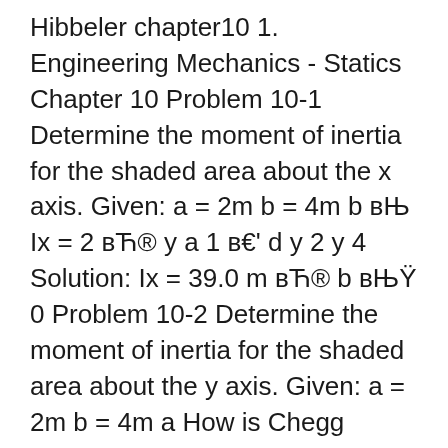Hibbeler chapter10 1. Engineering Mechanics - Statics Chapter 10 Problem 10-1 Determine the moment of inertia for the shaded area about the x axis. Given: a = 2m b = 4m b вЊ  Ix = 2 вЋ® y a 1 в€' d y 2 y 4 Solution: Ix = 39.0 m вЋ® b вЊŸ 0 Problem 10-2 Determine the moment of inertia for the shaded area about the y axis. Given: a = 2m b = 4m a How is Chegg Study better than a printed Engineering Mechanics 8th Edition student solution manual from the bookstore? Our interactive player makes it easy to find solutions to Engineering Mechanics 8th Edition problems you're working on - just go to the chapter for your book. Hit a particularly tricky question? Bookmark